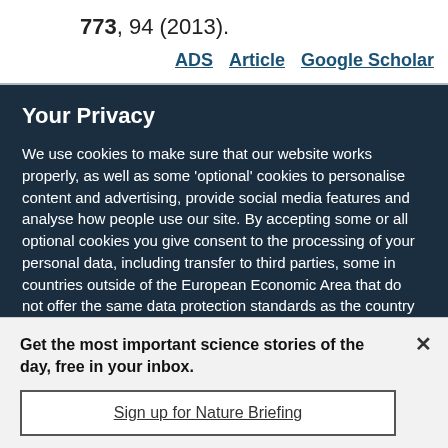773, 94 (2013).
ADS  Article  Google Scholar
Your Privacy
We use cookies to make sure that our website works properly, as well as some 'optional' cookies to personalise content and advertising, provide social media features and analyse how people use our site. By accepting some or all optional cookies you give consent to the processing of your personal data, including transfer to third parties, some in countries outside of the European Economic Area that do not offer the same data protection standards as the country where you live. You can decide which optional cookies to accept by clicking on 'Manage Settings', where you can
Get the most important science stories of the day, free in your inbox.
Sign up for Nature Briefing